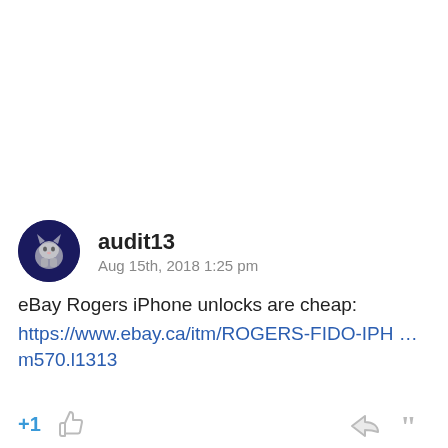audit13
Aug 15th, 2018 1:25 pm
eBay Rogers iPhone unlocks are cheap:
https://www.ebay.ca/itm/ROGERS-FIDO-IPH … m570.l1313
+1